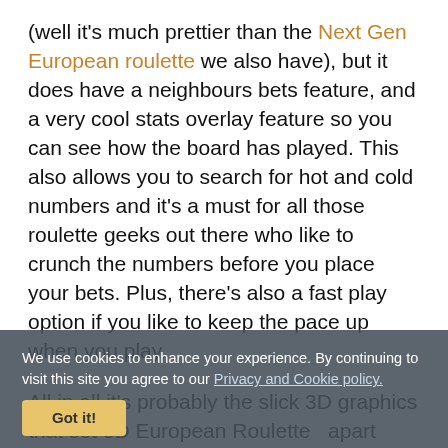(well it's much prettier than the Next Gen European roulette we also have), but it does have a neighbours bets feature, and a very cool stats overlay feature so you can see how the board has played. This also allows you to search for hot and cold numbers and it's a must for all those roulette geeks out there who like to crunch the numbers before you place your bets. Plus, there's also a fast play option if you like to keep the pace up when you play.
All in all it's probably the slick 3D graphics that set 3D European Roulette   apart from the other versions of this classic casino game. So, if you prefer this layout to some of the others, then pull up a seat at the 3D table and give that silver spinner a big old whirl! This is a virtual roulette game that uses an RNG to generate the results of course. If you prefer to play on a real wheel, we have plenty of live games as well
We use cookies to enhance your experience. By continuing to visit this site you agree to our Privacy and Cookie policy.
Got it!